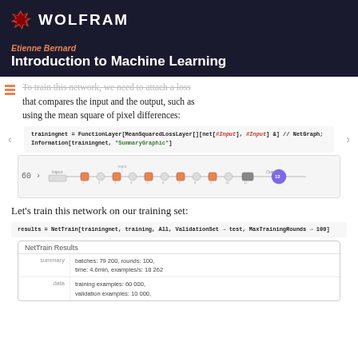WOLFRAM
Introduction to Machine Learning
To train this network, we need to attach a loss that compares the input and the output, such as using the mean square of pixel differences:
trainingnet = FunctionLayer[MeanSquaredLossLayer[][net[#Input], #Input] &] // NetGraph;
Information[trainingnet, "SummaryGraphic"]
[Figure (screenshot): Neural network graph diagram showing a sequence of layers in an autoencoder network, with input and output nodes connected through multiple convolutional and pooling layers.]
Let's train this network on our training set:
results = NetTrain[trainingnet, training, All, ValidationSet -> test, MaxTrainingRounds -> 100]
|  | NetTrain Results |  |
| --- | --- | --- |
| summary | batches: 79 200, rounds: 100,
time: 4.6min, examples/s: 18 262 |  |
| data | training examples: 60 000,
validation examples: 10 000, |  |